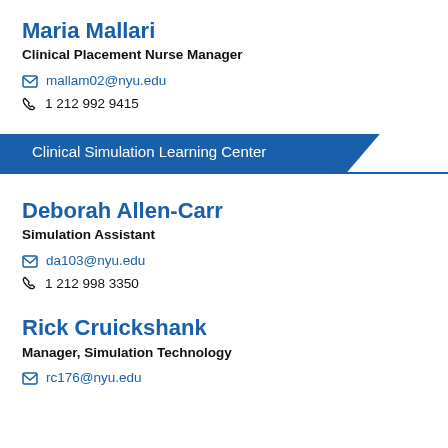Maria Mallari
Clinical Placement Nurse Manager
mallam02@nyu.edu
1 212 992 9415
Clinical Simulation Learning Center
Deborah Allen-Carr
Simulation Assistant
da103@nyu.edu
1 212 998 3350
Rick Cruickshank
Manager, Simulation Technology
rc176@nyu.edu